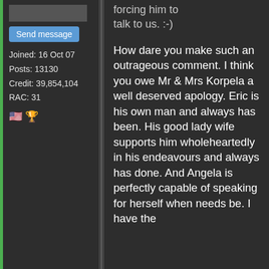[Figure (screenshot): Partially visible user avatar image at top of left panel]
Send message
Joined: 16 Oct 07
Posts: 13130
Credit: 39,854,104
RAC: 31
[Figure (illustration): US flag emoji and trophy emoji]
forcing him to talk to us. :-)
How dare you make such an outrageous comment. I think you owe Mr & Mrs Korpela a well deserved apology. Eric is his own man and always has been. His good lady wife supports him wholeheartedly in his endeavours and always has done. And Angela is perfectly capable of speaking for herself when needs be. I have the